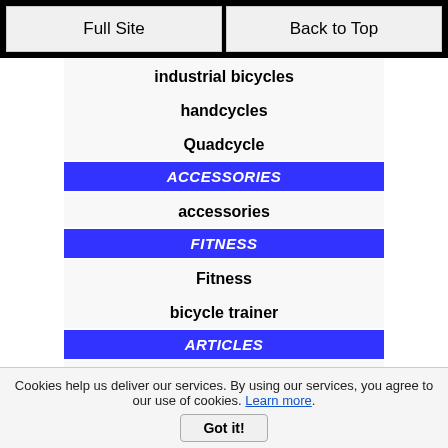Full Site | Back to Top
industrial bicycles
handcycles
Quadcycle
Accessories
accessories
Fitness
Fitness
bicycle trainer
Articles
favorite bike ride
What's a boomer?
Misc. Articles
Stores
Boomer Bike Store
Accessory Store
Cookies help us deliver our services. By using our services, you agree to our use of cookies. Learn more.
Got it!